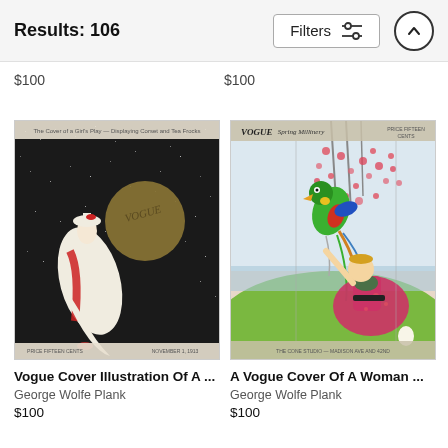Results: 106
$100
$100
[Figure (illustration): Vogue magazine cover illustration showing an elegant woman in white dress with red sash standing against a dark starry background with large golden moon, VOGUE text on moon]
Vogue Cover Illustration Of A ...
George Wolfe Plank
$100
[Figure (illustration): Vogue Spring Millinery magazine cover showing a woman in pink/red dress sitting on green grass reaching toward a colorful parrot, with flowering branches above, VOGUE and Spring Millinery text at top]
A Vogue Cover Of A Woman ...
George Wolfe Plank
$100